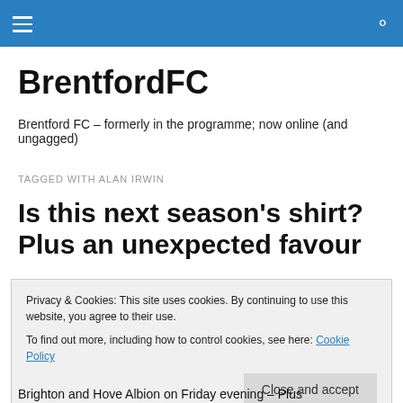BrentfordFC (navigation bar with hamburger menu and search icon)
BrentfordFC
Brentford FC – formerly in the programme; now online (and ungagged)
TAGGED WITH ALAN IRWIN
Is this next season's shirt? Plus an unexpected favour
Privacy & Cookies: This site uses cookies. By continuing to use this website, you agree to their use.
To find out more, including how to control cookies, see here: Cookie Policy
Brighton and Hove Albion on Friday evening – Plus